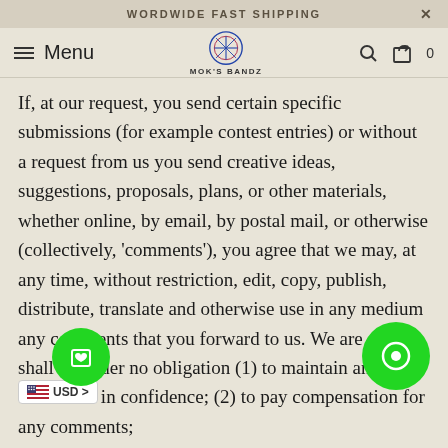WORDWIDE FAST SHIPPING
[Figure (screenshot): Navigation bar with hamburger menu, Menu text, MOK'S BANDZ logo in center, search icon, cart icon with 0 count]
If, at our request, you send certain specific submissions (for example contest entries) or without a request from us you send creative ideas, suggestions, proposals, plans, or other materials, whether online, by email, by postal mail, or otherwise (collectively, 'comments'), you agree that we may, at any time, without restriction, edit, copy, publish, distribute, translate and otherwise use in any medium any comments that you forward to us. We are and shall be under no obligation (1) to maintain any comments in confidence; (2) to pay compensation for any comments;